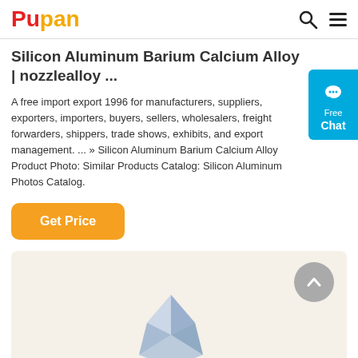Pupan
Silicon Aluminum Barium Calcium Alloy | nozzlealloy ...
A free import export 1996 for manufacturers, suppliers, exporters, importers, buyers, sellers, wholesalers, freight forwarders, shippers, trade shows, exhibits, and export management. ... » Silicon Aluminum Barium Calcium Alloy Product Photo: Similar Products Catalog: Silicon Aluminum Photos Catalog.
[Figure (other): Orange 'Get Price' button]
[Figure (other): Product image area with mineral/alloy photo on light beige background, with scroll-to-top button (grey circle with upward chevron)]